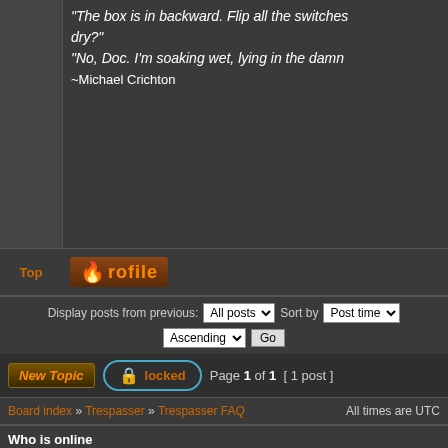"The box is in backward. Flip all the switches dry?"
"No, Doc. I'm soaking wet, lying in the damn
~Michael Crichton
Top
[Figure (screenshot): Profile badge with skull icon and stylized text]
Display posts from previous: All posts  Sort by  Post time
Ascending  Go
New Topic  locked  Page 1 of 1  [ 1 post ]
Board index » Trespasser » Trespasser FAQ    All times are UTC
Who is online
Users browsing this forum: No registered users and 1 guest
You cannot post new topics in this forum
You cannot reply to topics in this forum
You cannot edit your posts in this forum
You cannot delete your posts in this forum
You cannot post attachments in this forum
Search for:
Jump to: Trespasser FAQ  Go
Go